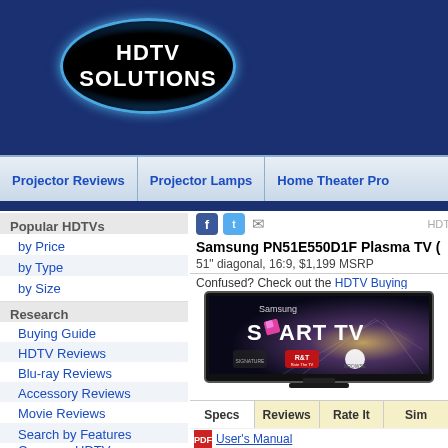HDTV SOLUTIONS
Projector Reviews | Projector Lamps | Home Theater Pro
Popular HDTVs
by Price
by Type
by Size
Research
Buying Guide
HDTV Reviews
Blu-ray Reviews
Accessory Reviews
Movie Reviews
Search by Features
Compare HDTVs
Samsung PN51E550D1F Plasma TV (
51" diagonal, 16:9, $1,199 MSRP
Confused? Check out the HDTV Buying Guide!
[Figure (photo): Samsung Smart TV product photo showing a flatscreen TV displaying the Samsung Smart TV splash screen with options for Signature, Apps, and Browse.]
| Specs | Reviews | Rate It | Sim |
| --- | --- | --- | --- |
User's Manual